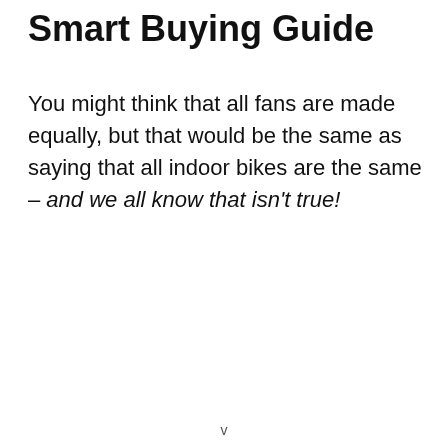Smart Buying Guide
You might think that all fans are made equally, but that would be the same as saying that all indoor bikes are the same – and we all know that isn't true!
v